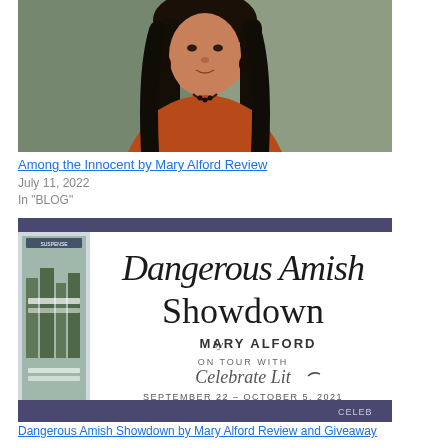[Figure (photo): Portrait photo of Mary Alford, a woman with long dark hair wearing an orange/rust top and beaded necklace, against a muted green-gray background]
Among the Innocent by Mary Alford Review
July 11, 2022
In "BLOG"
[Figure (illustration): Book tour promotional banner for 'Dangerous Amish Showdown by Mary Alford, on tour with Celebrate Lit, September 22 – October 5, 2021'. Features a book cover image on the left and large serif text on white background with a dark purple/navy header bar.]
[Figure (illustration): Partial bottom strip of another Celebrate Lit banner image, purple/navy colored]
Dangerous Amish Showdown by Mary Alford Review and Giveaway